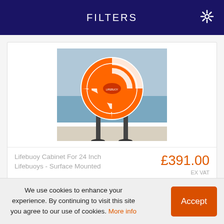FILTERS
[Figure (photo): Orange lifebuoy cabinet mounted on two metal posts near a waterfront. The cabinet is circular and orange with white markings, displayed outdoors.]
Lifebuoy Cabinet For 24 Inch Lifebuoys - Surface Mounted
£391.00
EX VAT
We use cookies to enhance your experience. By continuing to visit this site you agree to our use of cookies. More info